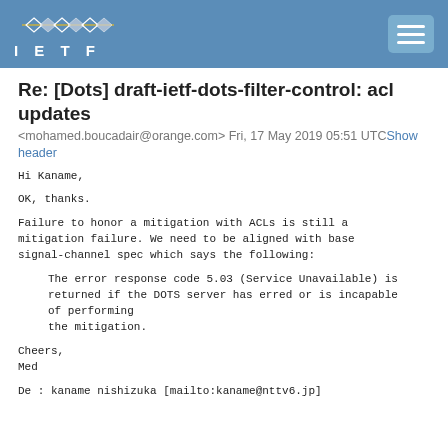IETF
Re: [Dots] draft-ietf-dots-filter-control: acl updates
<mohamed.boucadair@orange.com> Fri, 17 May 2019 05:51 UTCShow header
Hi Kaname,

OK, thanks.

Failure to honor a mitigation with ACLs is still a mitigation failure. We need to be aligned with base signal-channel spec which says the following:

    The error response code 5.03 (Service Unavailable) is returned if the DOTS server has erred or is incapable of performing
    the mitigation.

Cheers,
Med

De : kaname nishizuka [mailto:kaname@nttv6.jp]